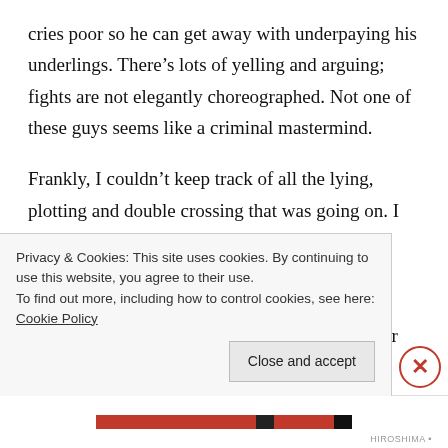cries poor so he can get away with underpaying his underlings. There's lots of yelling and arguing; fights are not elegantly choreographed. Not one of these guys seems like a criminal mastermind.
Frankly, I couldn't keep track of all the lying, plotting and double crossing that was going on. I could have used a family tree and a score card. Maybe that's because the film is based on the memoirs of a gangster and real life can be more complicated than fiction? Battles Without Honor and Humanity was also part of
Privacy & Cookies: This site uses cookies. By continuing to use this website, you agree to their use.
To find out more, including how to control cookies, see here: Cookie Policy
Close and accept